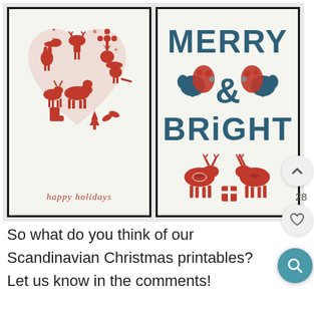[Figure (illustration): Two Scandinavian Christmas art prints side by side in black frames. Left print shows a heart shape made of red Scandinavian folk art animals and decorations with 'happy holidays' text in red italic. Right print shows 'MERRY & BRIGHT' text in dark teal with red reindeer at the bottom and folk art birds.]
So what do you think of our Scandinavian Christmas printables? Let us know in the comments!